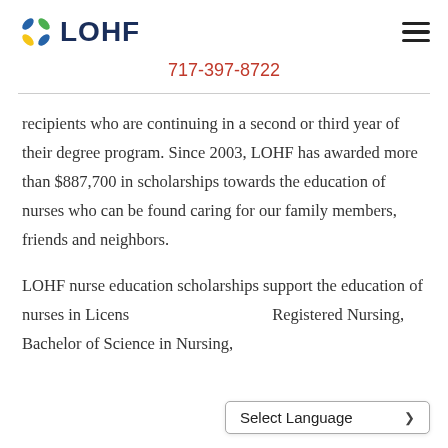LOHF | 717-397-8722
recipients who are continuing in a second or third year of their degree program. Since 2003, LOHF has awarded more than $887,700 in scholarships towards the education of nurses who can be found caring for our family members, friends and neighbors.
LOHF nurse education scholarships support the education of nurses in Licensed Practical Nursing, Registered Nursing, Bachelor of Science in Nursing,